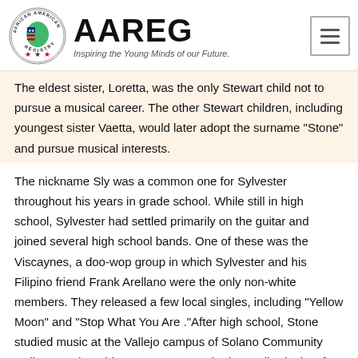[Figure (logo): African American Registry (AAREG) logo with circular emblem featuring Africa map with stars and stripes, and tagline 'Inspiring the Young Minds of our Future.']
The eldest sister, Loretta, was the only Stewart child not to pursue a musical career. The other Stewart children, including youngest sister Vaetta, would later adopt the surname "Stone" and pursue musical interests.
The nickname Sly was a common one for Sylvester throughout his years in grade school. While still in high school, Sylvester had settled primarily on the guitar and joined several high school bands. One of these was the Viscaynes, a doo-wop group in which Sylvester and his Filipino friend Frank Arellano were the only non-white members. They released a few local singles, including "Yellow Moon" and "Stop What You Are ."After high school, Stone studied music at the Vallejo campus of Solano Community College. In the mid-1960s, Stone worked as a disc jockey for San Francisco,